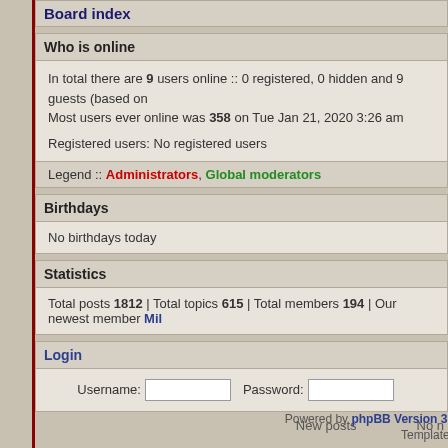Board index
Who is online
In total there are 9 users online :: 0 registered, 0 hidden and 9 guests (based on ...
Most users ever online was 358 on Tue Jan 21, 2020 3:26 am
Registered users: No registered users
Legend :: Administrators, Global moderators
Birthdays
No birthdays today
Statistics
Total posts 1812 | Total topics 615 | Total members 194 | Our newest member Mil...
Login
Username: [  ]  Password: [  ]
New posts    No n...
Powered by phpBB Version 3 © 200...
Template made...